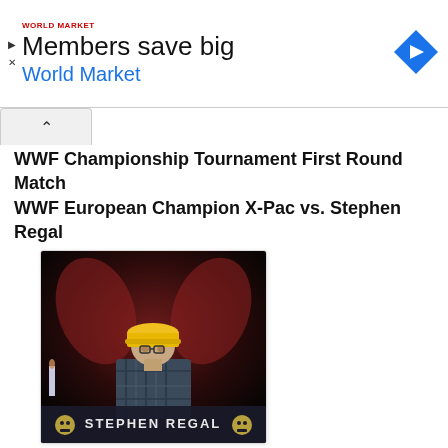[Figure (screenshot): World Market advertisement banner with logo, 'Members save big' headline, 'World Market' subheading in blue, and a blue diamond navigation icon]
WWF Championship Tournament First Round Match
WWF European Champion X-Pac vs. Stephen Regal
[Figure (photo): Stephen Regal wearing a yellow hard hat and plaid shirt, standing in front of a dark dramatic background. A nameplate at the bottom reads 'STEPHEN REGAL' with skull decorations on each side.]
He's a man...Such a man!
Yes, ladies and gentlemen, Real Man's Man Stephen Regal